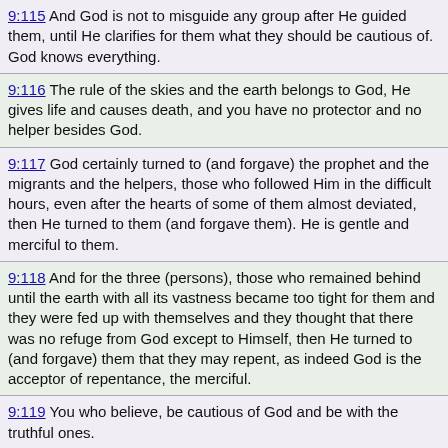9:115  And God is not to misguide any group after He guided them, until He clarifies for them what they should be cautious of. God knows everything.
9:116  The rule of the skies and the earth belongs to God, He gives life and causes death, and you have no protector and no helper besides God.
9:117  God certainly turned to (and forgave) the prophet and the migrants and the helpers, those who followed Him in the difficult hours, even after the hearts of some of them almost deviated, then He turned to them (and forgave them). He is gentle and merciful to them.
9:118  And for the three (persons), those who remained behind until the earth with all its vastness became too tight for them and they were fed up with themselves and they thought that there was no refuge from God except to Himself, then He turned to (and forgave) them that they may repent, as indeed God is the acceptor of repentance, the merciful.
9:119  You who believe, be cautious of God and be with the truthful ones.
9:120  It is not (appropriate) for people of the city (Medina) and those desert Arabs around them to stay behind (and refuse to follow) the messenger of God, and prefer their lives to his life.